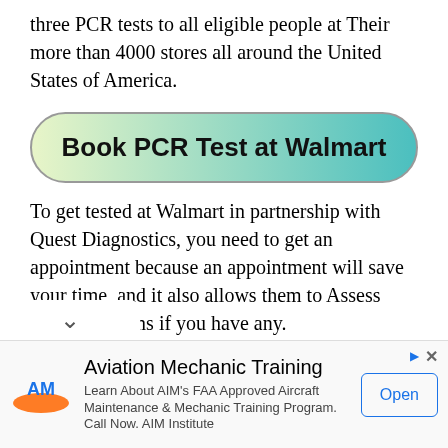three PCR tests to all eligible people at Their more than 4000 stores all around the United States of America.
[Figure (other): Green gradient button labeled 'Book PCR Test at Walmart']
To get tested at Walmart in partnership with Quest Diagnostics, you need to get an appointment because an appointment will save your time, and it also allows them to Assess your symptoms if you have any.
Walmart is doing PCR tests free of cost, so you do not have to worry about anything. You need your photo ID while you are getting tested.
[Figure (other): Advertisement banner for AIM Institute Aviation Mechanic Training with logo, text, and Open button]